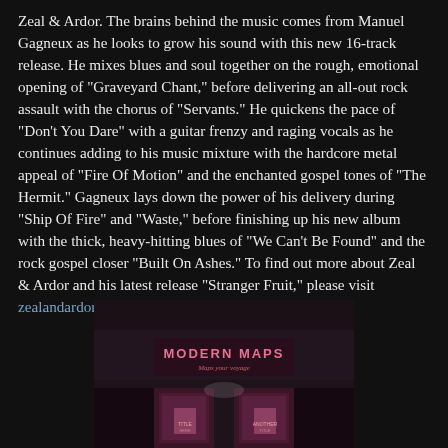Zeal & Ardor. The brains behind the music comes from Manuel Gagneux as he looks to grow his sound with this new 16-track release. He mixes blues and soul together on the rough, emotional opening of "Graveyard Chant," before delivering an all-out rock assault with the chorus of "Servants." He quickens the pace of "Don't You Dare" with a guitar frenzy and raging vocals as he continues adding to his music mixture with the hardcore metal appeal of "Fire Of Motion" and the enchanted gospel tones of "The Hermit." Gagneux lays down the power of his delivery during "Ship Of Fire" and "Waste," before finishing up his new album with the thick, heavy-hitting blues of "We Can't Be Found" and the rock gospel closer "Built On Ashes." To find out more about Zeal & Ardor and his latest release "Stranger Fruit," please visit zealandardor.com.
[Figure (photo): Album cover or venue photo for Modern Maps showing a dark exterior with illuminated signage reading MODERN MAPS with a cursive subtitle, and lit doorways below]